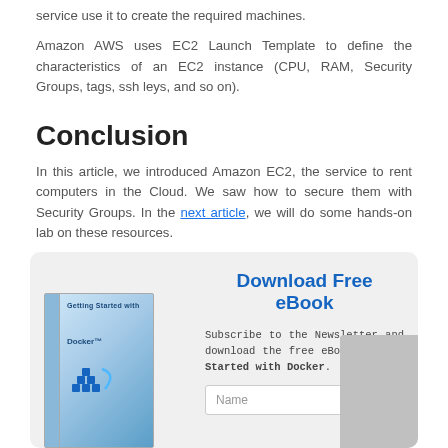service use it to create the required machines.
Amazon AWS uses EC2 Launch Template to define the characteristics of an EC2 instance (CPU, RAM, Security Groups, tags, ssh leys, and so on).
Conclusion
In this article, we introduced Amazon EC2, the service to rent computers in the Cloud. We saw how to secure them with Security Groups. In the next article, we will do some hands-on lab on these resources.
[Figure (other): Promotional box with 'Download Free eBook' heading, subscription text referencing 'Getting Started with Docker' eBook, a book cover image on the left, a Name input field, and a gray block on the right.]